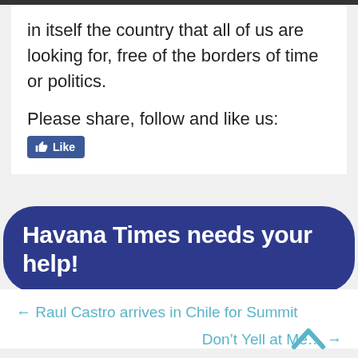in itself the country that all of us are looking for, free of the borders of time or politics.
Please share, follow and like us:
[Figure (other): Facebook Like button (blue rounded rectangle with thumbs up icon and 'Like' text)]
Havana Times needs your help!
← Raul Castro arrives in Chile for Summit
Don't Yell at Me… →